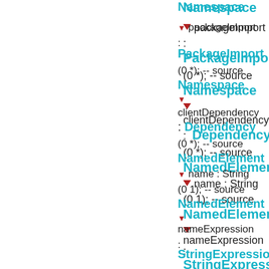[Figure (other): UML diagram fragment showing class relationships with arrows, class names in cyan bold, and association labels. Shows: Namespace with packageImport: PackageImport (0 *); source Namespace; clientDependency: Dependency (0 *); source NamedElement; name: String (0 1); source NamedElement; nameExpression: StringExpression (0 1); source]